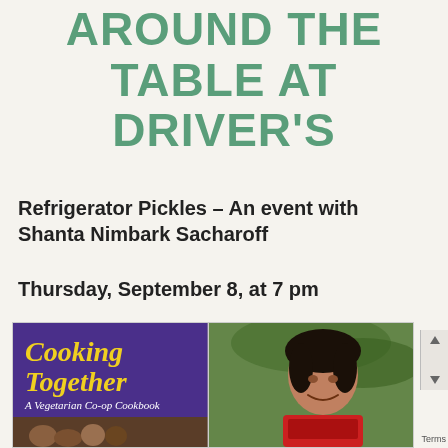AROUND THE TABLE AT DRIVER'S
Refrigerator Pickles – An event with Shanta Nimbark Sacharoff
Thursday, September 8, at 7 pm
Free admission
[Figure (illustration): Image showing the cover of the book 'Cooking Together: A Vegetarian Co-op Cookbook' on the left half (purple background with yellow italic title) with small group photo at bottom, and a portrait photo of Shanta Nimbark Sacharoff smiling on the right half.]